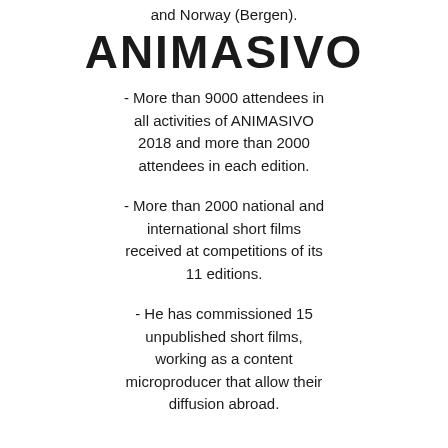and Norway (Bergen).
ANIMASIVO
- More than 9000 attendees in all activities of ANIMASIVO 2018 and more than 2000 attendees in each edition.
- More than 2000 national and international short films received at competitions of its 11 editions.
- He has commissioned 15 unpublished short films, working as a content microproducer that allow their diffusion abroad.